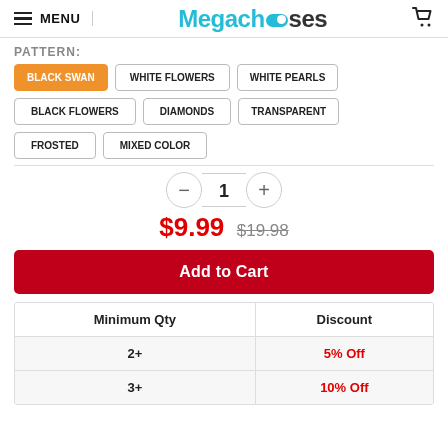MENU | Megachooses (logo with toggle icon)
PATTERN:
BLACK SWAN (selected), WHITE FLOWERS, WHITE PEARLS
BLACK FLOWERS, DIAMONDS, TRANSPARENT
FROSTED, MIXED COLOR
1 (quantity selector)
$9.99  $19.98
Add to Cart
| Minimum Qty | Discount |
| --- | --- |
| 2+ | 5% Off |
| 3+ | 10% Off |